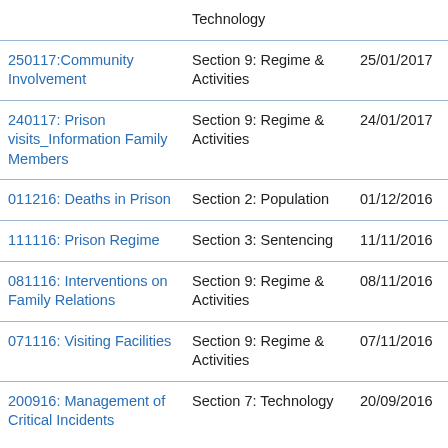| Name | Section | Date | Count |
| --- | --- | --- | --- |
| [partial - Technology] |  |  |  |
| 250117:Community Involvement | Section 9: Regime & Activities | 25/01/2017 | 6 |
| 240117: Prison visits_Information Family Members | Section 9: Regime & Activities | 24/01/2017 | 7 |
| 011216: Deaths in Prison | Section 2: Population | 01/12/2016 | 2 |
| 111116: Prison Regime | Section 3: Sentencing | 11/11/2016 | 2 |
| 081116: Interventions on Family Relations | Section 9: Regime & Activities | 08/11/2016 | 8 |
| 071116: Visiting Facilities | Section 9: Regime & Activities | 07/11/2016 | 4 |
| 200916: Management of Critical Incidents | Section 7: Technology | 20/09/2016 | 1 |